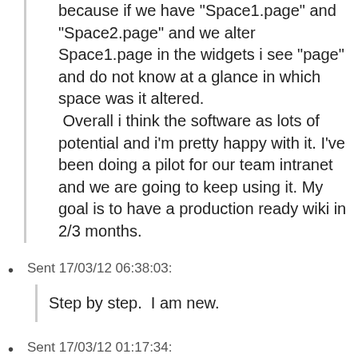because if we have "Space1.page" and "Space2.page" and we alter Space1.page in the widgets i see "page" and do not know at a glance in which space was it altered.
 Overall i think the software as lots of potential and i'm pretty happy with it. I've been doing a pilot for our team intranet and we are going to keep using it. My goal is to have a production ready wiki in 2/3 months.
Sent 17/03/12 06:38:03:
Step by step.  I am new.
Sent 17/03/12 01:17:34:
XWiki is great. We use it for the